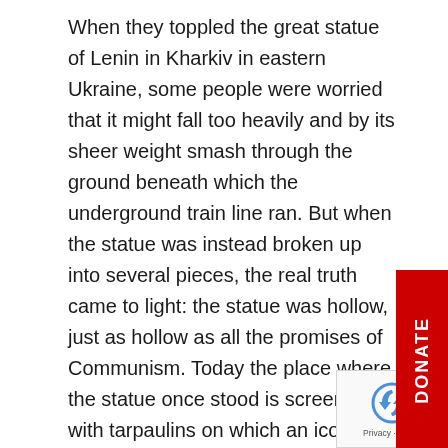When they toppled the great statue of Lenin in Kharkiv in eastern Ukraine, some people were worried that it might fall too heavily and by its sheer weight smash through the ground beneath which the underground train line ran. But when the statue was instead broken up into several pieces, the real truth came to light: the statue was hollow, just as hollow as all the promises of Communism. Today the place where the statue once stood is screened off with tarpaulins on which an icon of the Mother of God is painted.

Many people in Ukraine feel a sense of inner emptiness. They are still searching for God. It is the unanimous testimony of bishops, priests and religious in the country that the yearning for God is growing ever greater and that people are longing for genuine